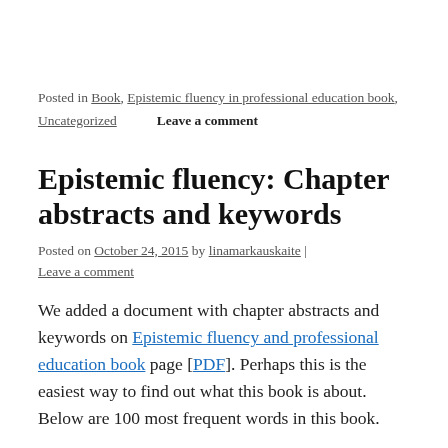Posted in Book, Epistemic fluency in professional education book, Uncategorized    Leave a comment
Epistemic fluency: Chapter abstracts and keywords
Posted on October 24, 2015 by linamarkauskaite | Leave a comment
We added a document with chapter abstracts and keywords on Epistemic fluency and professional education book page [PDF]. Perhaps this is the easiest way to find out what this book is about. Below are 100 most frequent words in this book.